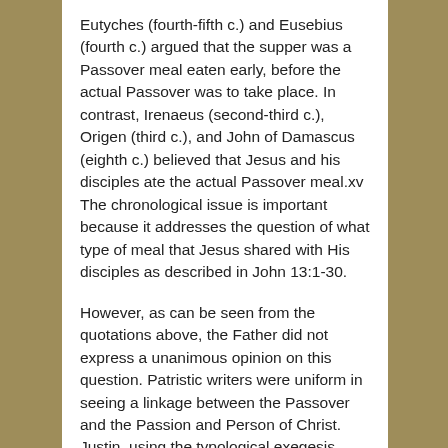Eutyches (fourth-fifth c.) and Eusebius (fourth c.) argued that the supper was a Passover meal eaten early, before the actual Passover was to take place. In contrast, Irenaeus (second-third c.), Origen (third c.), and John of Damascus (eighth c.) believed that Jesus and his disciples ate the actual Passover meal.xv The chronological issue is important because it addresses the question of what type of meal that Jesus shared with His disciples as described in John 13:1-30.
However, as can be seen from the quotations above, the Father did not express a unanimous opinion on this question. Patristic writers were uniform in seeing a linkage between the Passover and the Passion and Person of Christ. Justin, using the typological exegesis common in the Early